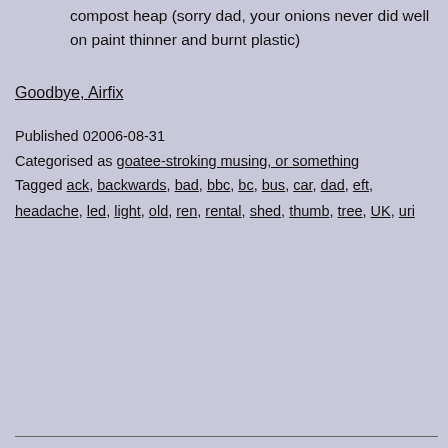compost heap (sorry dad, your onions never did well on paint thinner and burnt plastic)
Goodbye, Airfix
Published 02006-08-31
Categorised as goatee-stroking musing, or something
Tagged ack, backwards, bad, bbc, bc, bus, car, dad, eft, headache, led, light, old, ren, rental, shed, thumb, tree, UK, uri